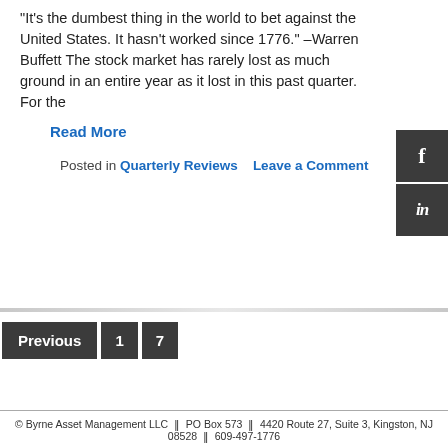“It’s the dumbest thing in the world to bet against the United States.  It hasn’t worked since 1776.” –Warren Buffett The stock market has rarely lost as much ground in an entire year as it lost in this past quarter.  For the
Read More
Posted in Quarterly Reviews    Leave a Comment
Previous  1  7
© Byrne Asset Management LLC  ‖  PO Box 573  ‖  4420 Route 27, Suite 3, Kingston, NJ 08528  ‖  609-497-1776